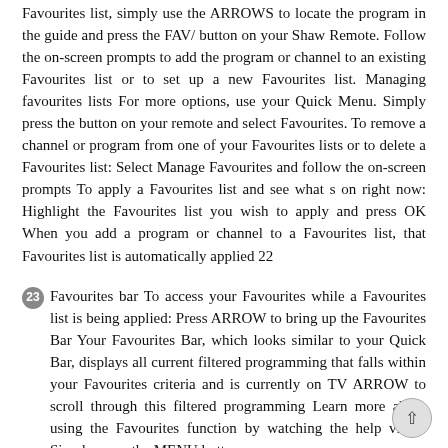Favourites list, simply use the ARROWS to locate the program in the guide and press the FAV/ button on your Shaw Remote. Follow the on-screen prompts to add the program or channel to an existing Favourites list or to set up a new Favourites list. Managing favourites lists For more options, use your Quick Menu. Simply press the button on your remote and select Favourites. To remove a channel or program from one of your Favourites lists or to delete a Favourites list: Select Manage Favourites and follow the on-screen prompts To apply a Favourites list and see what s on right now: Highlight the Favourites list you wish to apply and press OK When you add a program or channel to a Favourites list, that Favourites list is automatically applied 22
23 Favourites bar To access your Favourites while a Favourites list is being applied: Press ARROW to bring up the Favourites Bar Your Favourites Bar, which looks similar to your Quick Bar, displays all current filtered programming that falls within your Favourites criteria and is currently on TV ARROW to scroll through this filtered programming Learn more about using the Favourites function by watching the help video. Simply press the MENU button on